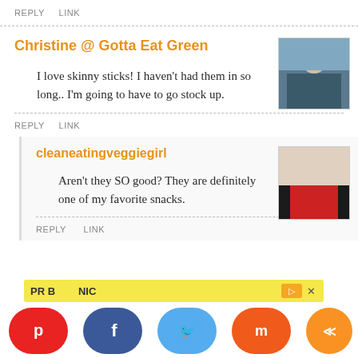REPLY   LINK
Christine @ Gotta Eat Green
I love skinny sticks! I haven't had them in so long.. I'm going to have to go stock up.
REPLY   LINK
cleaneatingveggiegirl
Aren't they SO good? They are definitely one of my favorite snacks.
REPLY   LINK